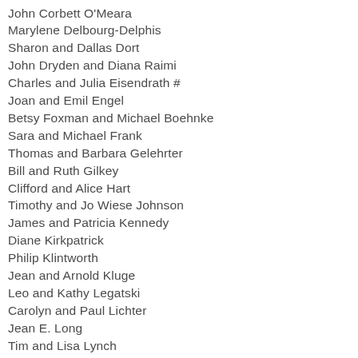John Corbett O'Meara
Marylene Delbourg-Delphis
Sharon and Dallas Dort
John Dryden and Diana Raimi
Charles and Julia Eisendrath #
Joan and Emil Engel
Betsy Foxman and Michael Boehnke
Sara and Michael Frank
Thomas and Barbara Gelehrter
Bill and Ruth Gilkey
Clifford and Alice Hart
Timothy and Jo Wiese Johnson
James and Patricia Kennedy
Diane Kirkpatrick
Philip Klintworth
Jean and Arnold Kluge
Leo and Kathy Legatski
Carolyn and Paul Lichter
Jean E. Long
Tim and Lisa Lynch
Ernest and Adele McCarus
Doug and Cate McClure
Paul Morel and Linda Woodworth
William Nohland and Donna Reynolds